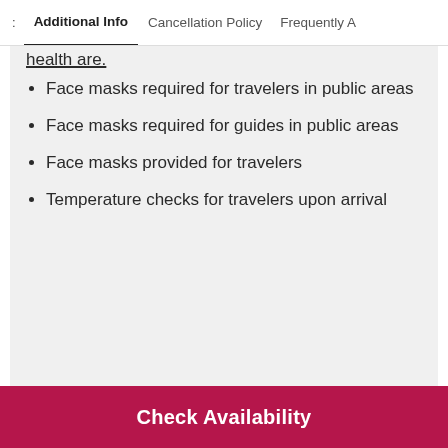Additional Info  Cancellation Policy  Frequently A
health are.
Face masks required for travelers in public areas
Face masks required for guides in public areas
Face masks provided for travelers
Temperature checks for travelers upon arrival
Q: What is the policy on sanitization during Guatape Rock & Coffee Tour & Picturesque Town. All in one
Check Availability